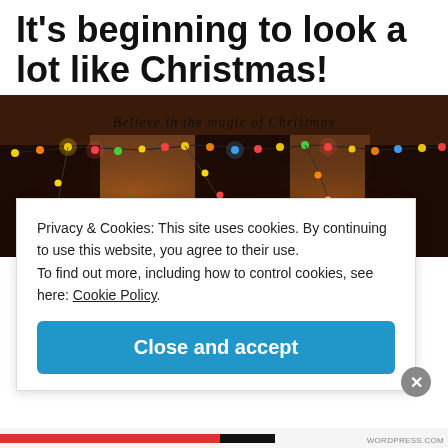It's beginning to look a lot like Christmas!
[Figure (photo): A dark room with curtains decorated with colorful Christmas lights strung across them. Text on the wall reads 'Believe in the magic of Christmas' in cursive script.]
Privacy & Cookies: This site uses cookies. By continuing to use this website, you agree to their use.
To find out more, including how to control cookies, see here: Cookie Policy
Close and accept